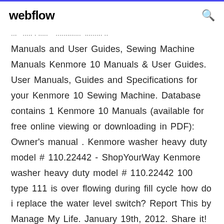webflow
Manuals and User Guides, Sewing Machine Manuals Kenmore 10 Manuals & User Guides. User Manuals, Guides and Specifications for your Kenmore 10 Sewing Machine. Database contains 1 Kenmore 10 Manuals (available for free online viewing or downloading in PDF): Owner's manual . Kenmore washer heavy duty model # 110.22442 - ShopYourWay Kenmore washer heavy duty model # 110.22442 100 type 111 is over flowing during fill cycle how do i replace the water level switch? Report This by Manage My Life. January 19th, 2012. Share it! Get more answers from the people in your networks. Tags . Kenmore, Washers.